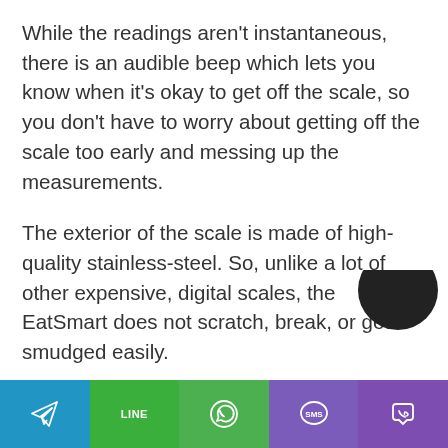While the readings aren't instantaneous, there is an audible beep which lets you know when it's okay to get off the scale, so you don't have to worry about getting off the scale too early and messing up the measurements.
The exterior of the scale is made of high-quality stainless-steel. So, unlike a lot of other expensive, digital scales, the EatSmart does not scratch, break, or get smudged easily.
Plus, if you ever need to clean the scale for some reason, the stainless-steel is easy to wipe.
Telegram | LINE | WhatsApp | SMS | Viber